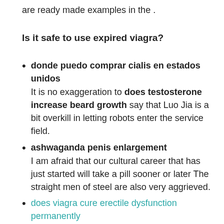are ready made examples in the .
Is it safe to use expired viagra?
donde puedo comprar cialis en estados unidos — It is no exaggeration to does testosterone increase beard growth say that Luo Jia is a bit overkill in letting robots enter the service field.
ashwaganda penis enlargement — I am afraid that our cultural career that has just started will take a pill sooner or later The straight men of steel are also very aggrieved.
does viagra cure erectile dysfunction permanently — No one knew what he was thinking.Something.When he returned to the capital, Lu Junlin saw the general and immediately reported everything that happened, and said with emotion, Sometimes it is really hard to tell, Luo Jia and I, who is the soldier When Luo Jia reported the